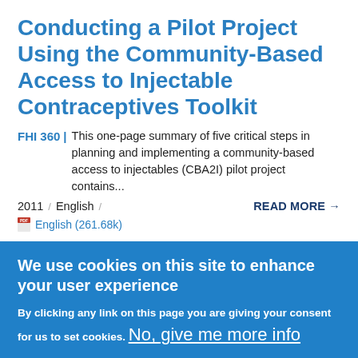Conducting a Pilot Project Using the Community-Based Access to Injectable Contraceptives Toolkit
FHI 360 | This one-page summary of five critical steps in planning and implementing a community-based access to injectables (CBA2I) pilot project contains...
2011   /   English   /   READ MORE →
English (261.68k)
We use cookies on this site to enhance your user experience
By clicking any link on this page you are giving your consent for us to set cookies. No, give me more info
OK, I agree   No, thanks